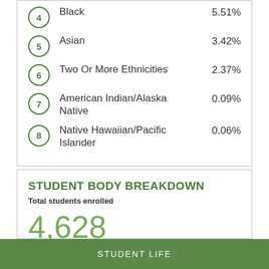4 Black 5.51%
5 Asian 3.42%
6 Two Or More Ethnicities 2.37%
7 American Indian/Alaska Native 0.09%
8 Native Hawaiian/Pacific Islander 0.06%
STUDENT BODY BREAKDOWN
Total students enrolled
4,628
Undergraduate students
STUDENT LIFE